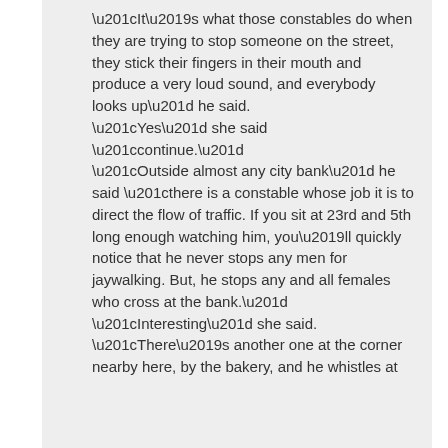“It’s what those constables do when they are trying to stop someone on the street, they stick their fingers in their mouth and produce a very loud sound, and everybody looks up” he said. “Yes” she said “continue.” “Outside almost any city bank” he said “there is a constable whose job it is to direct the flow of traffic. If you sit at 23rd and 5th long enough watching him, you’ll quickly notice that he never stops any men for jaywalking. But, he stops any and all females who cross at the bank.” “Interesting” she said. “There’s another one at the corner nearby here, by the bakery, and he whistles at